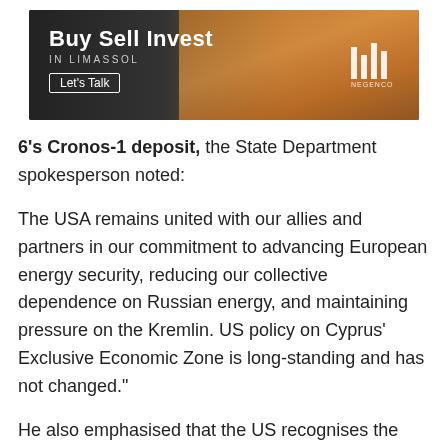[Figure (illustration): Advertisement banner for real estate in Limassol. Text reads 'Buy Sell Invest IN LIMASSOL Let's Talk' with a logo on the right side and a cityscape/coastal background.]
6's Cronos-1 deposit, the State Department spokesperson noted:
The USA remains united with our allies and partners in our commitment to advancing European energy security, reducing our collective dependence on Russian energy, and maintaining pressure on the Kremlin. US policy on Cyprus' Exclusive Economic Zone is long-standing and has not changed."
He also emphasised that the US recognises the right of Cyprus to develop the resources in its Exclusive Economic Zone. "We believe that Cyprus' oil and gas resources, like all its